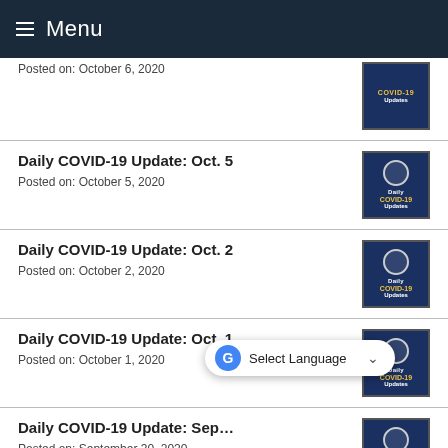Menu
Posted on: October 6, 2020
Daily COVID-19 Update: Oct. 5
Posted on: October 5, 2020
Daily COVID-19 Update: Oct. 2
Posted on: October 2, 2020
Daily COVID-19 Update: Oct. 1
Posted on: October 1, 2020
Daily COVID-19 Update: Sep...
Posted on: September 30, 2020